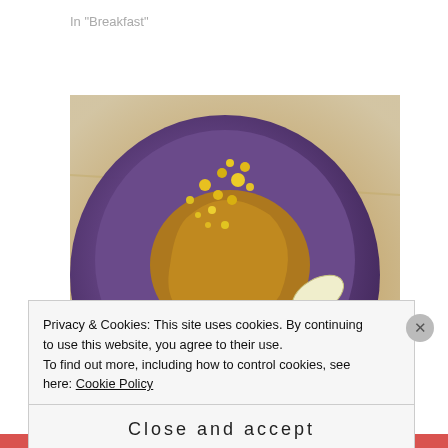In "Breakfast"
[Figure (photo): Close-up photo of a Ginger Blueberry Smoothie bowl with purple/blueberry base, yellow bee pollen toppings, honey drizzle, and sliced banana arranged in a fan pattern, on a wooden cutting board background.]
Ginger Blueberry Smoothie
2019/11/26
In "Breakfast"
Privacy & Cookies: This site uses cookies. By continuing to use this website, you agree to their use.
To find out more, including how to control cookies, see here: Cookie Policy
Close and accept